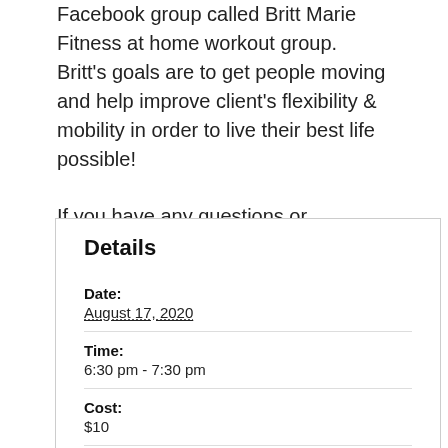Facebook group called Britt Marie Fitness at home workout group. Britt's goals are to get people moving and help improve client's flexibility & mobility in order to live their best life possible!
If you have any questions or concerns, please email Britt at brittmmorrison@gmail.com
| Field | Value |
| --- | --- |
| Date: | August 17, 2020 |
| Time: | 6:30 pm - 7:30 pm |
| Cost: | $10 |
| Event Category: | Fitness Classes |